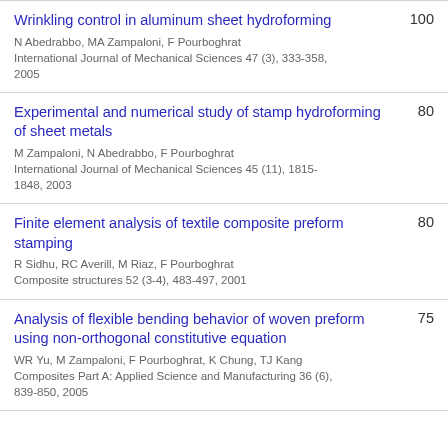Wrinkling control in aluminum sheet hydroforming — N Abedrabbo, MA Zampaloni, F Pourboghrat — International Journal of Mechanical Sciences 47 (3), 333-358, 2005 — 100
Experimental and numerical study of stamp hydroforming of sheet metals — M Zampaloni, N Abedrabbo, F Pourboghrat — International Journal of Mechanical Sciences 45 (11), 1815-1848, 2003 — 80
Finite element analysis of textile composite preform stamping — R Sidhu, RC Averill, M Riaz, F Pourboghrat — Composite structures 52 (3-4), 483-497, 2001 — 80
Analysis of flexible bending behavior of woven preform using non-orthogonal constitutive equation — WR Yu, M Zampaloni, F Pourboghrat, K Chung, TJ Kang — Composites Part A: Applied Science and Manufacturing 36 (6), 839-850, 2005 — 75